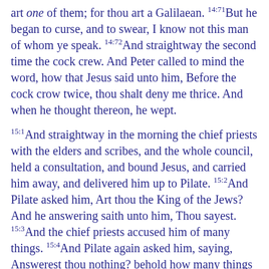art one of them; for thou art a Galilaean. 14:71But he began to curse, and to swear, I know not this man of whom ye speak. 14:72And straightway the second time the cock crew. And Peter called to mind the word, how that Jesus said unto him, Before the cock crow twice, thou shalt deny me thrice. And when he thought thereon, he wept.
15:1And straightway in the morning the chief priests with the elders and scribes, and the whole council, held a consultation, and bound Jesus, and carried him away, and delivered him up to Pilate. 15:2And Pilate asked him, Art thou the King of the Jews? And he answering saith unto him, Thou sayest. 15:3And the chief priests accused him of many things. 15:4And Pilate again asked him, saying, Answerest thou nothing? behold how many things they accuse thee of. 15:5But Jesus no more answered anything; insomuch that Pilate marvelled. 15:6Now at the feast he used to release unto them one prisoner, whom they asked of him. 15:7And there was one called Barabbas, lying bound with them that had made insurrection, men who in the insurrection had committed murder. 15:8And the multitude